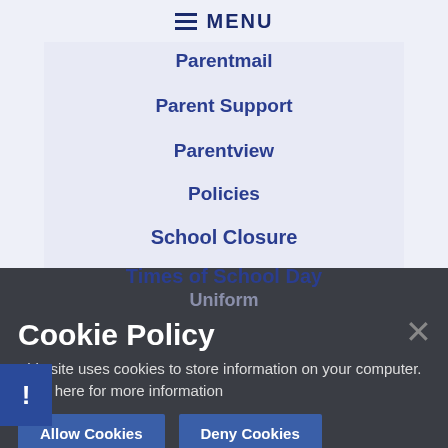≡ MENU
Parentmail
Parent Support
Parentview
Policies
School Closure
Times of School Day
Uniform
Swindon Leadership Award
Cookie Policy
This site uses cookies to store information on your computer. Click here for more information
Allow Cookies   Deny Cookies